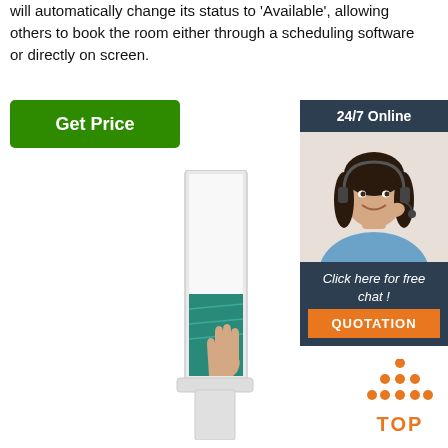will automatically change its status to 'Available', allowing others to book the room either through a scheduling software or directly on screen.
[Figure (other): Green 'Get Price' button]
[Figure (other): 24/7 Online support widget with photo of woman with headset, 'Click here for free chat!' text, and orange QUOTATION button]
[Figure (other): Tall vertical display/kiosk product with teal screen showing hand]
[Figure (other): Orange TOP icon with dots arranged as upward arrow above the word TOP]